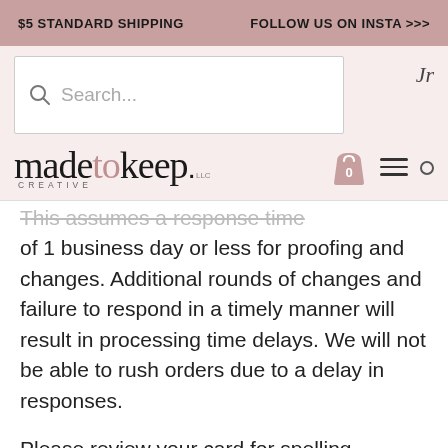$5 STANDARD SHIPPING    FOLLOW US ON INSTA >>>
[Figure (screenshot): Search bar with magnifying glass icon and placeholder text 'Search...']
[Figure (logo): Made to Keep Creative LLC logo with shopping bag icon and hamburger menu]
This assumes a response time of 1 business day or less for proofing and changes. Additional rounds of changes and failure to respond in a timely manner will result in processing time delays. We will not be able to rush orders due to a delay in responses.

Please review your card for spelling, grammar, etiquette,